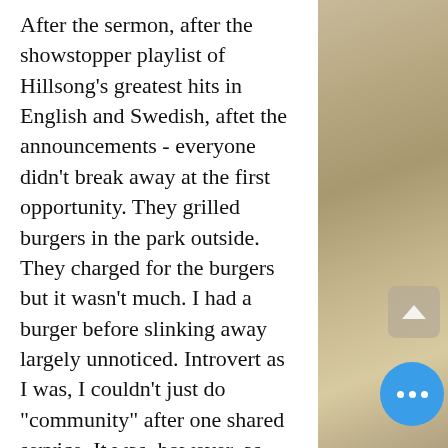After the sermon, after the showstopper playlist of Hillsong's greatest hits in English and Swedish, aftet the announcements - everyone didn't break away at the first opportunity. They grilled burgers in the park outside. They charged for the burgers but it wasn't much. I had a burger before slinking away largely unnoticed. Introvert as I was, I couldn't just do "community" after one shared service. It was, however, as warm a Community as the summer afternoon burger-grill they congregated around. The gently rustling fountain water and the haze of golden sunlight shining over them was nearly dramatic overkill.